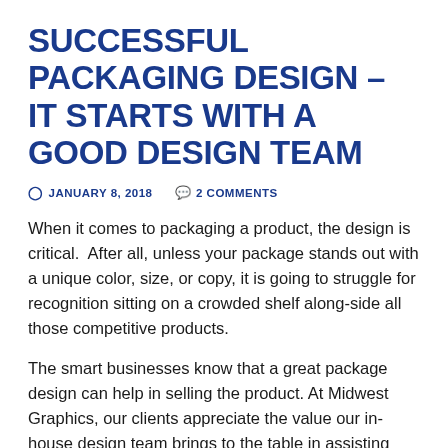SUCCESSFUL PACKAGING DESIGN – IT STARTS WITH A GOOD DESIGN TEAM
JANUARY 8, 2018   2 COMMENTS
When it comes to packaging a product, the design is critical.  After all, unless your package stands out with a unique color, size, or copy, it is going to struggle for recognition sitting on a crowded shelf along-side all those competitive products.
The smart businesses know that a great package design can help in selling the product. At Midwest Graphics, our clients appreciate the value our in-house design team brings to the table in assisting them in creating a great package design.